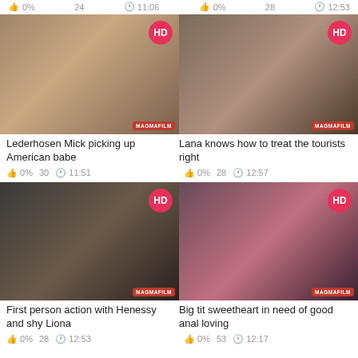0%  24  11:06  0%  28  12:53
[Figure (photo): Video thumbnail for Lederhosen Mick picking up American babe with HD badge and MAGMAFILM watermark]
[Figure (photo): Video thumbnail for Lana knows how to treat the tourists right with HD badge and MAGMAFILM watermark]
Lederhosen Mick picking up American babe
Lana knows how to treat the tourists right
0%  30  11:51  0%  28  12:57
[Figure (photo): Video thumbnail for First person action with Henessy and shy Liona with HD badge and MAGMAFILM watermark]
[Figure (photo): Video thumbnail for Big tit sweetheart in need of good anal loving with HD badge and MAGMAFILM watermark]
First person action with Henessy and shy Liona
Big tit sweetheart in need of good anal loving
0%  28  12:53  0%  53  12:17